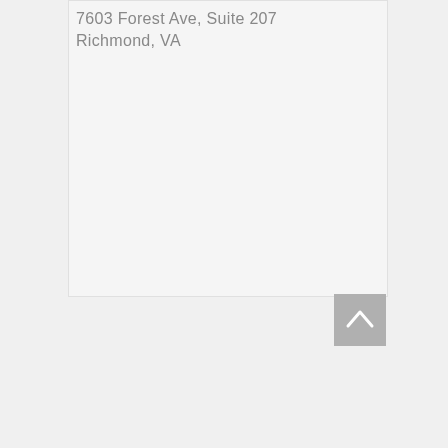7603 Forest Ave, Suite 207 Richmond, VA
[Figure (other): Back to top button - a grey square button with an upward chevron/arrow icon]